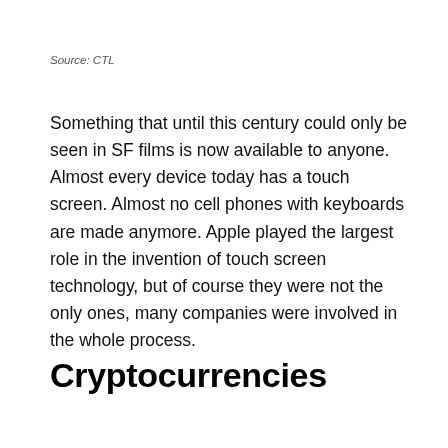Source: CTL
Something that until this century could only be seen in SF films is now available to anyone. Almost every device today has a touch screen. Almost no cell phones with keyboards are made anymore. Apple played the largest role in the invention of touch screen technology, but of course they were not the only ones, many companies were involved in the whole process.
Cryptocurrencies